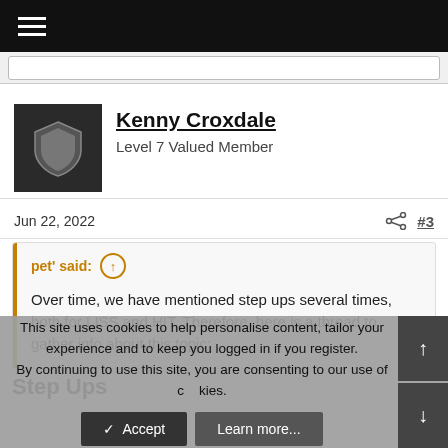≡ (hamburger menu)
[Figure (screenshot): Search bar input area]
[Figure (illustration): Avatar shield icon for user Kenny Croxdale]
Kenny Croxdale
Level 7 Valued Member
Jun 22, 2022   #3
pet' said:
Over time, we have mentioned step ups several times, both for LISS and HIT. Therefore, here is a thread to gather info about this topic:
Step Ups
This site uses cookies to help personalise content, tailor your experience and to keep you logged in if you register.
By continuing to use this site, you are consenting to our use of cookies.